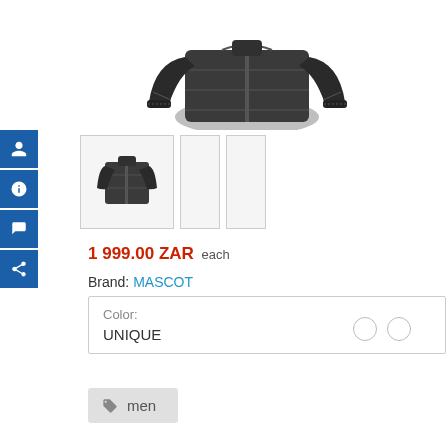[Figure (photo): Dark grey/black men's quilted jacket, upper portion showing torso and arms, product image cropped at bottom]
[Figure (photo): Thumbnail image of the same dark quilted jacket, full view]
1 999.00 ZAR each
Brand: MASCOT
Color: UNIQUE
men